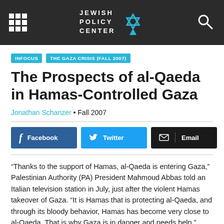Jewish Policy Center
INFOCUS
THE GAZA CRISIS (FALL 2007)
The Prospects of al-Qaeda in Hamas-Controlled Gaza
Jonathan Schanzer • Fall 2007
Facebook | Twitter | Email
“Thanks to the support of Hamas, al-Qaeda is entering Gaza,” Palestinian Authority (PA) President Mahmoud Abbas told an Italian television station in July, just after the violent Hamas takeover of Gaza. “It is Hamas that is protecting al-Qaeda, and through its bloody behavior, Hamas has become very close to al-Qaeda. That is why Gaza is in danger and needs help.”
Gaza is undeniably a perfect breeding ground for al-Qaeda. Usama